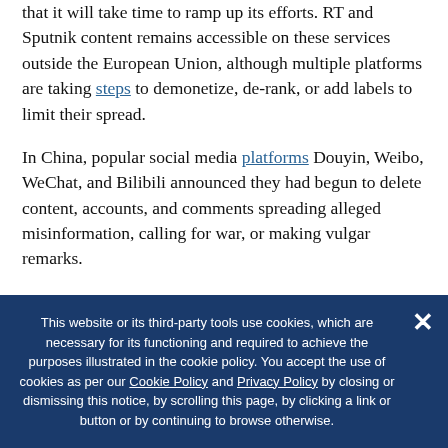that it will take time to ramp up its efforts. RT and Sputnik content remains accessible on these services outside the European Union, although multiple platforms are taking steps to demonetize, de-rank, or add labels to limit their spread.
In China, popular social media platforms Douyin, Weibo, WeChat, and Bilibili announced they had begun to delete content, accounts, and comments spreading alleged misinformation, calling for war, or making vulgar remarks.
Globally, Apple and Microsoft announced that they
This website or its third-party tools use cookies, which are necessary for its functioning and required to achieve the purposes illustrated in the cookie policy. You accept the use of cookies as per our Cookie Policy and Privacy Policy by closing or dismissing this notice, by scrolling this page, by clicking a link or button or by continuing to browse otherwise.